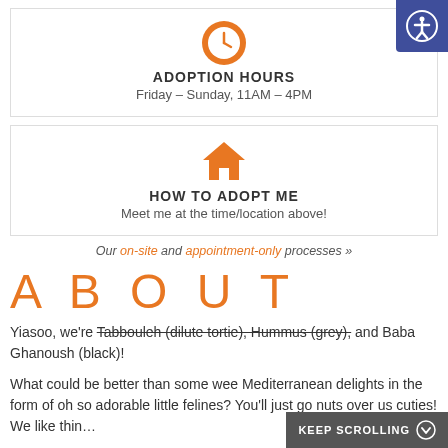[Figure (infographic): Orange clock icon inside a card for Adoption Hours]
ADOPTION HOURS
Friday – Sunday, 11AM – 4PM
[Figure (infographic): Orange house icon inside a card for How To Adopt Me]
HOW TO ADOPT ME
Meet me at the time/location above!
Our on-site and appointment-only processes »
ABOUT
Yiasoo, we're Tabbouleh (dilute tortie), Hummus (grey), and Baba Ghanoush (black)!
What could be better than some wee Mediterranean delights in the form of oh so adorable little felines? You'll just go nuts over us cuties! We like thin…